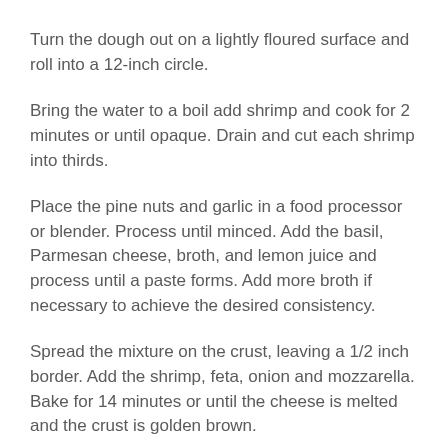Turn the dough out on a lightly floured surface and roll into a 12-inch circle.
Bring the water to a boil add shrimp and cook for 2 minutes or until opaque. Drain and cut each shrimp into thirds.
Place the pine nuts and garlic in a food processor or blender. Process until minced. Add the basil, Parmesan cheese, broth, and lemon juice and process until a paste forms. Add more broth if necessary to achieve the desired consistency.
Spread the mixture on the crust, leaving a 1/2 inch border. Add the shrimp, feta, onion and mozzarella. Bake for 14 minutes or until the cheese is melted and the crust is golden brown.